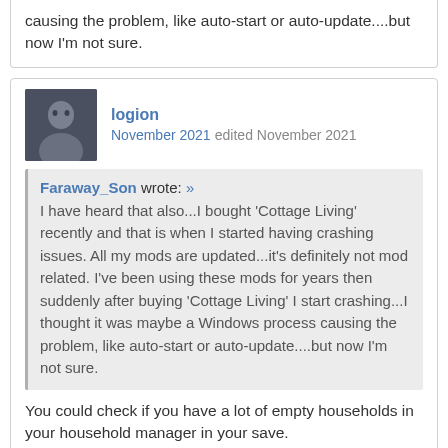causing the problem, like auto-start or auto-update....but now I'm not sure.
logion
November 2021 edited November 2021
Faraway_Son wrote: » I have heard that also...I bought 'Cottage Living' recently and that is when I started having crashing issues. All my mods are updated...it's definitely not mod related. I've been using these mods for years then suddenly after buying 'Cottage Living' I start crashing...I thought it was maybe a Windows process causing the problem, like auto-start or auto-update....but now I'm not sure.
You could check if you have a lot of empty households in your household manager in your save.
If nothing else works, you can try disabling cottage living and